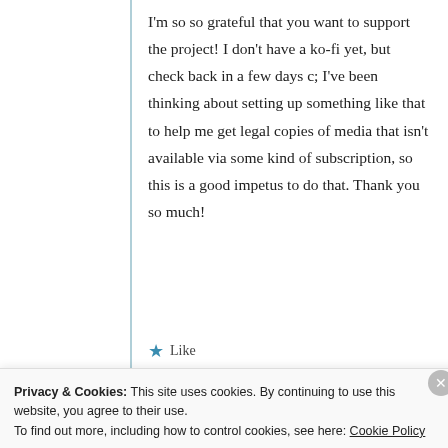I'm so so grateful that you want to support the project! I don't have a ko-fi yet, but check back in a few days c; I've been thinking about setting up something like that to help me get legal copies of media that isn't available via some kind of subscription, so this is a good impetus to do that. Thank you so much!
★ Like
Privacy & Cookies: This site uses cookies. By continuing to use this website, you agree to their use.
To find out more, including how to control cookies, see here: Cookie Policy
Close and accept